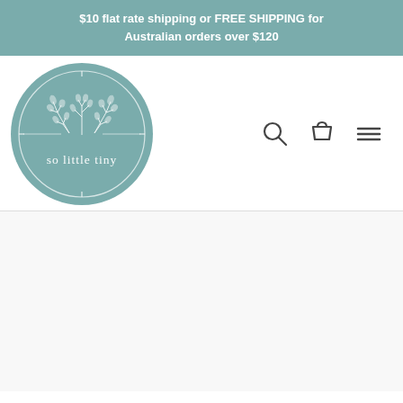$10 flat rate shipping or FREE SHIPPING for Australian orders over $120
[Figure (logo): So Little Tiny circular logo with botanical illustration and text 'so little tiny' on a muted teal/sage green background]
[Figure (other): Navigation icons: search magnifying glass, shopping cart bag, and hamburger menu (three horizontal lines)]